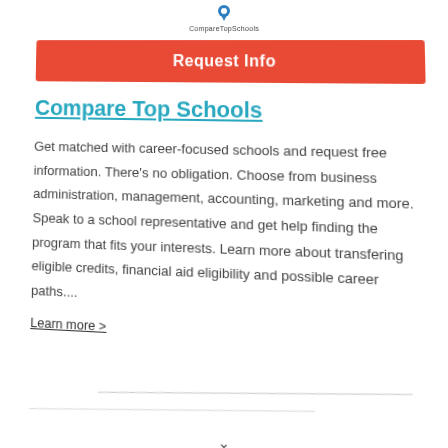[Figure (logo): CompareTopSchools logo with icon and text label]
Request Info
Compare Top Schools
Get matched with career-focused schools and request free information. There's no obligation. Choose from business administration, management, accounting, marketing and more. Speak to a school representative and get help finding the program that fits your interests. Learn more about transfering eligible credits, financial aid eligibility and possible career paths....
Learn more >